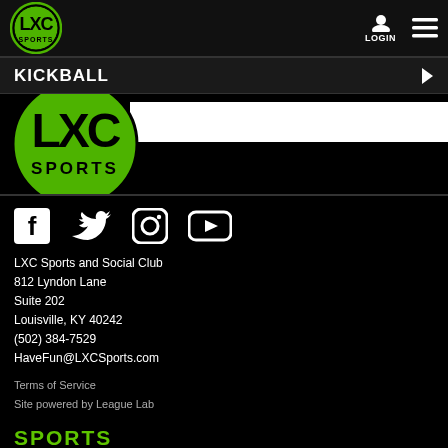LXC Sports - LOGIN
KICKBALL
[Figure (logo): LXC Sports logo - circular green and black logo with LXC text and SPORTS underneath]
[Figure (infographic): Social media icons: Facebook, Twitter, Instagram, YouTube]
LXC Sports and Social Club
812 Lyndon Lane
Suite 202
Louisville, KY 40242
(502) 384-7529
HaveFun@LXCSports.com
Terms of Service
Site powered by League Lab
SPORTS